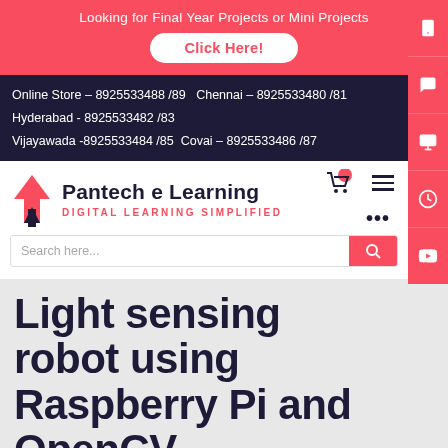Looking for Final Year Projects or Mini Projects
Click Here!
Online Store – 8925533488 /89   Chennai – 8925533480 /81
Hyderabad - 8925533482 /83
Vijayawada -8925533484 /85   Covai – 8925533486 /87
[Figure (logo): Pantech e Learning logo with arrow icon and tagline DIGITAL LEARNING SIMPLIFIED]
Search here...
Light sensing robot using Raspberry Pi and OpenCV